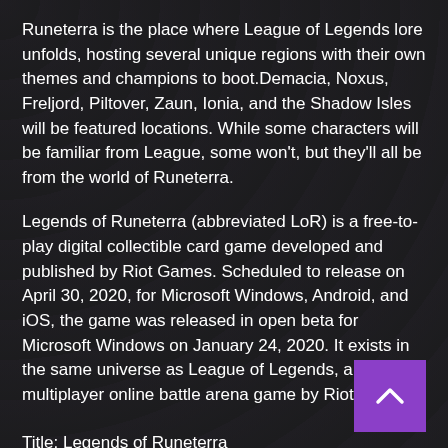Runeterra is the place where League of Legends lore unfolds, hosting several unique regions with their own themes and champions to boot.Demacia, Noxus, Freljord, Piltover, Zaun, Ionia, and the Shadow Isles will be featured locations. While some characters will be familiar from League, some won't, but they'll all be from the world of Runeterra.
Legends of Runeterra (abbreviated LoR) is a free-to-play digital collectible card game developed and published by Riot Games. Scheduled to release on April 30, 2020, for Microsoft Windows, Android, and iOS, the game was released in open beta for Microsoft Windows on January 24, 2020. It exists in the same universe as League of Legends, a multiplayer online battle arena game by Riot.
Title: Legends of Runeterra
Developer: Riot Games
Engine: Unity